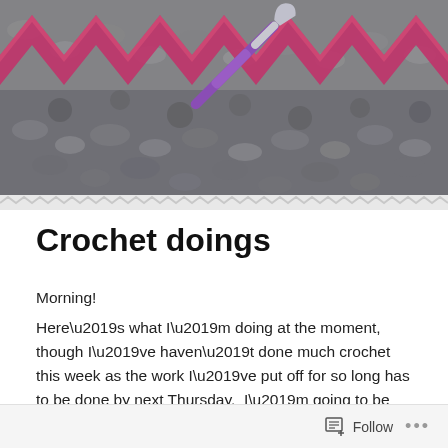[Figure (photo): Close-up photograph of gray and pink/magenta crochet work with a purple crochet hook inserted into the stitches]
Crochet doings
Morning!
Here’s what I’m doing at the moment, though I’ve haven’t done much crochet this week as the work I’ve put off for so long has to be done by next Thursday.  I’m going to be working next Monday, Tuesday and Wednesday elsewhere so time is lacking. I can see a long weekend of
Follow •••